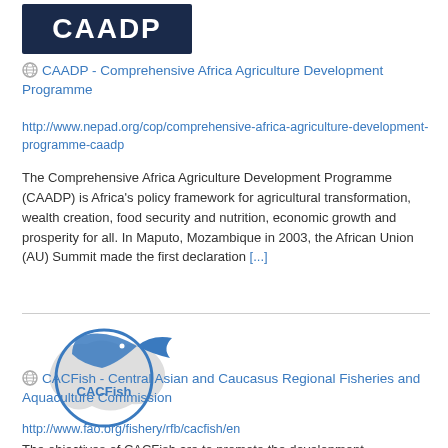[Figure (logo): CAADP logo — dark blue rectangle with white bold text 'CAADP']
CAADP – Comprehensive Africa Agriculture Development Programme
http://www.nepad.org/cop/comprehensive-africa-agriculture-development-programme-caadp
The Comprehensive Africa Agriculture Development Programme (CAADP) is Africa's policy framework for agricultural transformation, wealth creation, food security and nutrition, economic growth and prosperity for all. In Maputo, Mozambique in 2003, the African Union (AU) Summit made the first declaration [...]
[Figure (logo): CACFish logo — circular design with fish and world map in blue-grey tones, text 'CACFish' inside circle]
CACFish – Central Asian and Caucasus Regional Fisheries and Aquaculture Commission
http://www.fao.org/fishery/rfb/cacfish/en
The objectives of CACFish are to promote the development